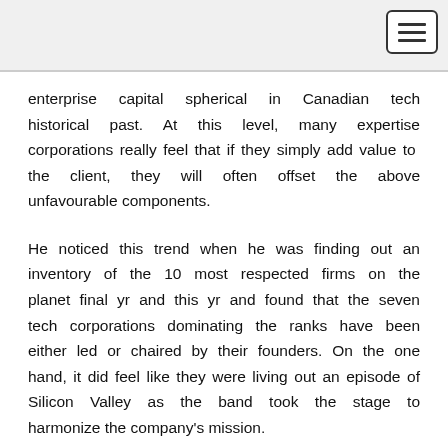enterprise capital spherical in Canadian tech historical past. At this level, many expertise corporations really feel that if they simply add value to the client, they will often offset the above unfavourable components.
He noticed this trend when he was finding out an inventory of the 10 most respected firms on the planet final yr and this yr and found that the seven tech corporations dominating the ranks have been either led or chaired by their founders. On the one hand, it did feel like they were living out an episode of Silicon Valley as the band took the stage to harmonize the company's mission.